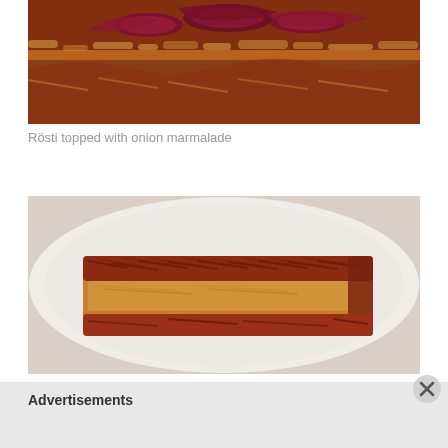[Figure (photo): Close-up photo of Rösti topped with onion marmalade — caramelized red onions on top of golden potato cake]
Rösti topped with onion marmalade
[Figure (photo): Photo of a piece of Rösti (Swiss potato cake) on a white plate, showing crispy shredded potato exterior with golden-brown crust]
Advertisements